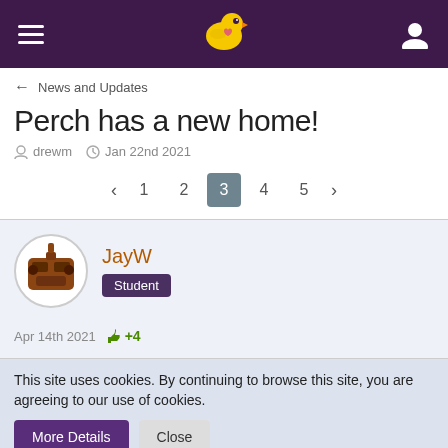Perch forum header with hamburger menu, bird logo, and user icon
← News and Updates
Perch has a new home!
drewm  Jan 22nd 2021
< 1 2 3 4 5 >
JayW Student
Apr 14th 2021 +4
This site uses cookies. By continuing to browse this site, you are agreeing to our use of cookies. More Details  Close